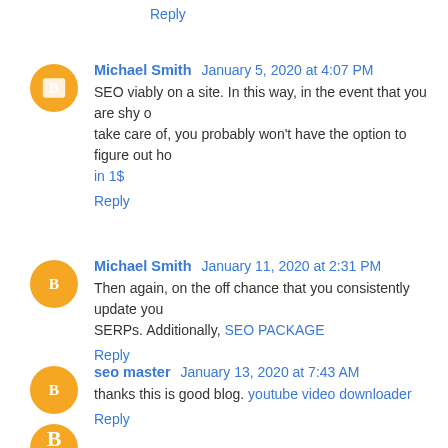Reply
Michael Smith  January 5, 2020 at 4:07 PM
SEO viably on a site. In this way, in the event that you are shy of take care of, you probably won't have the option to figure out ho... in 1$
Reply
Michael Smith  January 11, 2020 at 2:31 PM
Then again, on the off chance that you consistently update you... SERPs. Additionally, SEO PACKAGE
Reply
seo master  January 13, 2020 at 7:43 AM
thanks this is good blog. youtube video downloader
Reply